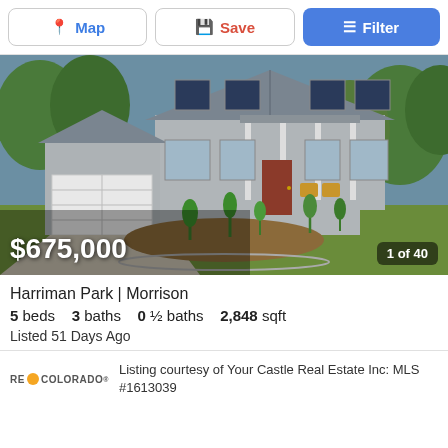[Figure (screenshot): Top navigation bar with Map, Save, and Filter buttons]
[Figure (photo): Exterior photo of a two-story craftsman-style house with attached garage, front porch with chairs, landscaped yard with mulch beds and ornamental grasses. Price overlay shows $675,000 and badge shows 1 of 40.]
Harriman Park | Morrison
5 beds  3 baths  0 ½ baths  2,848 sqft
Listed 51 Days Ago
Listing courtesy of Your Castle Real Estate Inc: MLS #1613039